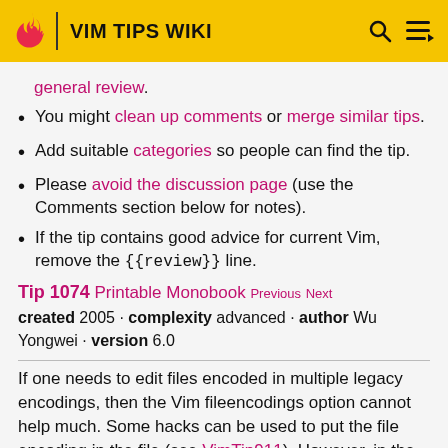VIM TIPS WIKI
general review.
You might clean up comments or merge similar tips.
Add suitable categories so people can find the tip.
Please avoid the discussion page (use the Comments section below for notes).
If the tip contains good advice for current Vim, remove the {{review}} line.
Tip 1074 Printable Monobook Previous Next
created 2005 · complexity advanced · author Wu Yongwei · version 6.0
If one needs to edit files encoded in multiple legacy encodings, then the Vim fileencodings option cannot help much. Some hacks can be used to put the file encoding in the file (see VimTip911). However, in the case of HTML files